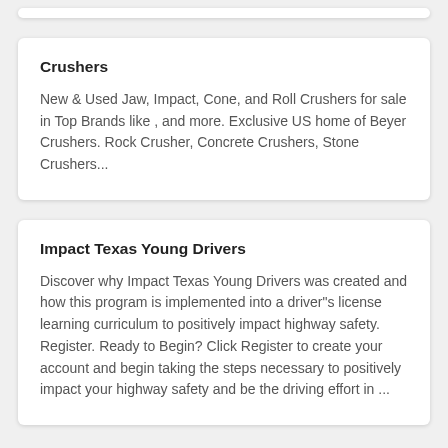Crushers
New & Used Jaw, Impact, Cone, and Roll Crushers for sale in Top Brands like , and more. Exclusive US home of Beyer Crushers. Rock Crusher, Concrete Crushers, Stone Crushers...
Impact Texas Young Drivers
Discover why Impact Texas Young Drivers was created and how this program is implemented into a driver"s license learning curriculum to positively impact highway safety. Register. Ready to Begin? Click Register to create your account and begin taking the steps necessary to positively impact your highway safety and be the driving effort in ...